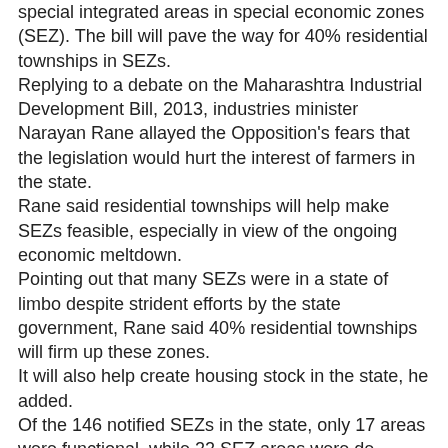special integrated areas in special economic zones (SEZ). The bill will pave the way for 40% residential townships in SEZs. Replying to a debate on the Maharashtra Industrial Development Bill, 2013, industries minister Narayan Rane allayed the Opposition's fears that the legislation would hurt the interest of farmers in the state. Rane said residential townships will help make SEZs feasible, especially in view of the ongoing economic meltdown. Pointing out that many SEZs were in a state of limbo despite strident efforts by the state government, Rane said 40% residential townships will firm up these zones. It will also help create housing stock in the state, he added. Of the 146 notified SEZs in the state, only 17 areas were functional, while 22 SEZ areas were de-notified or withdrawn because of changes in the Centre's policy. Opposing the bill, Shiv Sena-BJP legislators described it as "anti-farmer". Girish Bapat and Sudhir Mungantiwar of the BJP demanded that the bill be referred to the joint select committee, but Rane turned it down. The Opposition also demanded that 12% of the SEZ area be given to farmers.